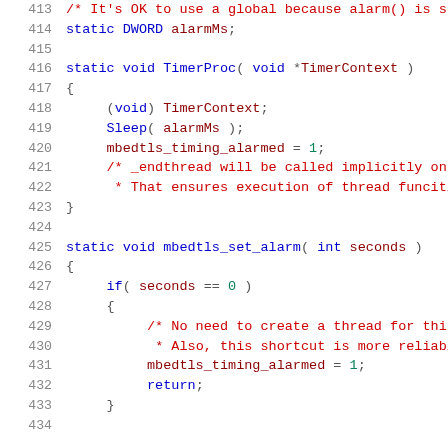Source code listing, lines 413-434, C language code for timer/alarm functions including TimerProc and mbedtls_set_alarm